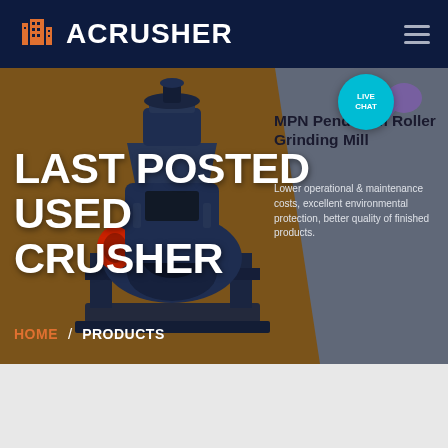ACRUSHER
LAST POSTED USED CRUSHER
[Figure (illustration): Industrial pendulum roller grinding mill machine, dark blue/navy metallic color with mechanical components]
MPN Pendulum Roller Grinding Mill
Lower operational & maintenance costs, excellent environmental protection, better quality of finished products.
HOME / PRODUCTS